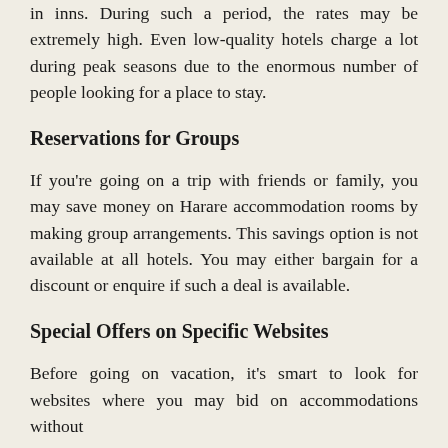in inns. During such a period, the rates may be extremely high. Even low-quality hotels charge a lot during peak seasons due to the enormous number of people looking for a place to stay.
Reservations for Groups
If you're going on a trip with friends or family, you may save money on Harare accommodation rooms by making group arrangements. This savings option is not available at all hotels. You may either bargain for a discount or enquire if such a deal is available.
Special Offers on Specific Websites
Before going on vacation, it's smart to look for websites where you may bid on accommodations without